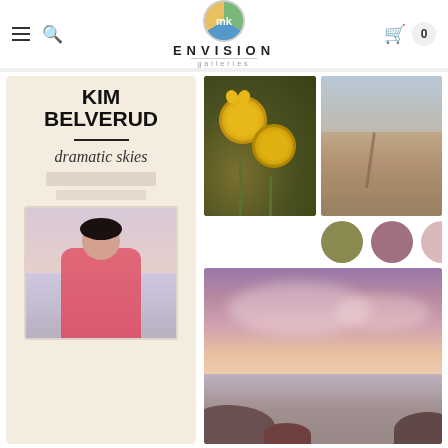Envision Galleries — navigation header with logo, hamburger menu, search, and cart (0 items)
[Figure (photo): Artist card for Kim Belverud with text 'dramatic skies' in script and a portrait photo of a woman in a pink top at the beach]
[Figure (photo): Close-up photo of yellow flowers with blurred green/brown background]
[Figure (photo): Aerial landscape photo showing rocky terrain and winding road]
[Figure (infographic): Three color swatches: olive green, mauve/dusty rose, blush pink]
[Figure (photo): Dramatic sunset photo with purple-pink sky, clouds, and rocky coastline/ocean]